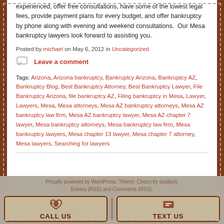experienced, offer free consultations, have some of the lowest legal fees, provide payment plans for every budget, and offer bankruptcy by phone along with evening and weekend consultations.  Our Mesa bankruptcy lawyers look forward to assisting you.
Posted by michael on May 6, 2012 in Uncategorized
Leave a comment
Tags: Arizona, Arizona bankruptcy, Bankruptcy Arizona, Bankruptcy AZ, Bankruptcy Blog, Best Bankruptcy Attorney, Best Bankruptcy Lawyer, File Bankruptcy Arizona, file bankruptcy AZ, Filing bankruptcy in Mesa, Lawyer, Lawyers, Mesa, Mesa attorneys, Mesa AZ bankruptcy attorneys, Mesa AZ bankruptcy law firm, Mesa AZ bankruptcy lawyer, Mesa AZ chapter 7 lawyer, Mesa bankruptcy attorneys, Mesa bankruptcy law firm, Mesa bankruptcy lawyers, Mesa chapter 13 lawyer, Mesa chapter 7 attorney, Mesa lawyers, Searching for lawyers
Proudly powered by WordPress. Theme: Choco by studiyo). Entries (RSS) and Comments (RSS).